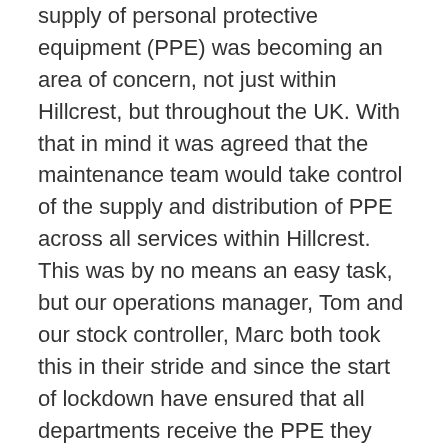supply of personal protective equipment (PPE) was becoming an area of concern, not just within Hillcrest, but throughout the UK. With that in mind it was agreed that the maintenance team would take control of the supply and distribution of PPE across all services within Hillcrest. This was by no means an easy task, but our operations manager, Tom and our stock controller, Marc both took this in their stride and since the start of lockdown have ensured that all departments receive the PPE they require. Feedback from Hillcrest Futures' senior managers has indicated that their staff have not experienced the difficulties felt by their NHS and care home sector counterparts. This is solely down to the hard work of the maintenance team and the excellent working relationships they have built.
While a lot of services have had to stop due to the restrictions of lockdown, this has not been the case for the gas, cleaning, emergency repairs and